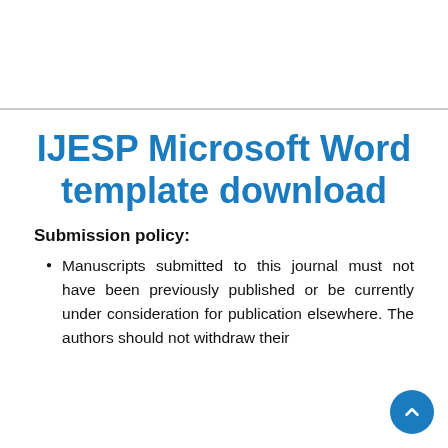IJESP Microsoft Word template download
Submission policy:
Manuscripts submitted to this journal must not have been previously published or be currently under consideration for publication elsewhere. The authors should not withdraw their